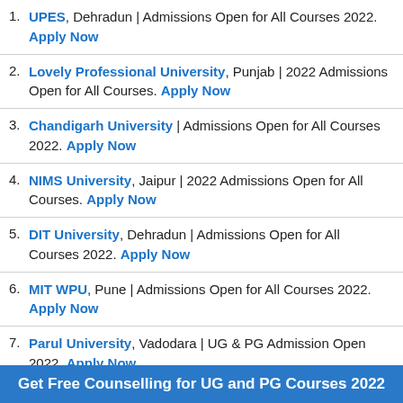UPES, Dehradun | Admissions Open for All Courses 2022. Apply Now
Lovely Professional University, Punjab | 2022 Admissions Open for All Courses. Apply Now
Chandigarh University | Admissions Open for All Courses 2022. Apply Now
NIMS University, Jaipur | 2022 Admissions Open for All Courses. Apply Now
DIT University, Dehradun | Admissions Open for All Courses 2022. Apply Now
MIT WPU, Pune | Admissions Open for All Courses 2022. Apply Now
Parul University, Vadodara | UG & PG Admission Open 2022. Apply Now
Manav Rachna University, Haryana | 2022 Admissions Open for
Get Free Counselling for UG and PG Courses 2022